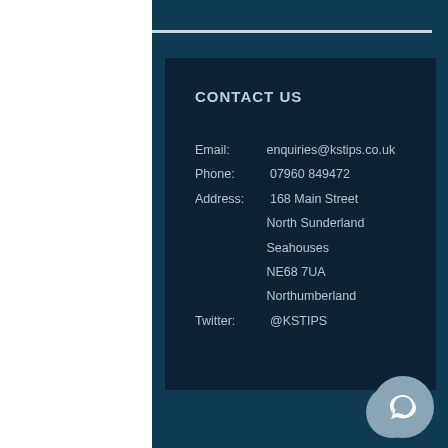CONTACT US
Email:   enquiries@kstips.co.uk
Phone:   07960 849472
Address: 168 Main Street
         North Sunderland
         Seahouses
         NE68 7UA
         Northumberland
Twitter: @KSTIPS
© 2016 KSTIPS